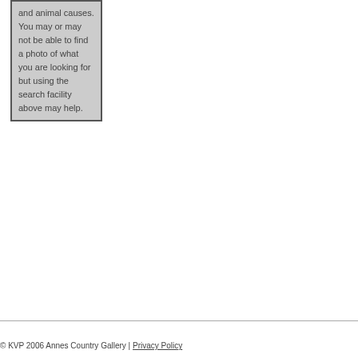and animal causes. You may or may not be able to find a photo of what you are looking for but using the search facility above may help.
© KVP 2006 Annes Country Gallery | Privacy Policy